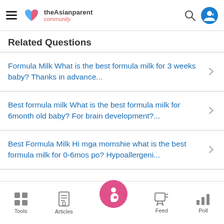theAsianparent community
Related Questions
Formula Milk What is the best formula milk for 3 weeks baby? Thanks in advance...
Best formula milk What is the best formula milk for 6month old baby? For brain development?...
Best Formula Milk Hi mga momshie what is the best formula milk for 0-6mos po? Hypoallergeni...
Tools | Articles | (home) | Feed | Poll